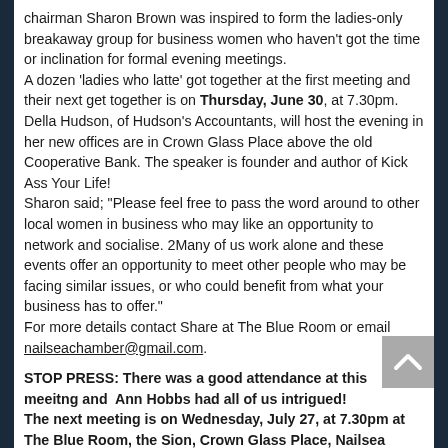chairman Sharon Brown was inspired to form the ladies-only breakaway group for business women who haven't got the time or inclination for formal evening meetings.
A dozen 'ladies who latte' got together at the first meeting and their next get together is on Thursday, June 30, at 7.30pm.
Della Hudson, of Hudson's Accountants, will host the evening in her new offices are in Crown Glass Place above the old Cooperative Bank. The speaker is founder and author of Kick Ass Your Life!
Sharon said; "Please feel free to pass the word around to other local women in business who may like an opportunity to network and socialise. 2Many of us work alone and these events offer an opportunity to meet other people who may be facing similar issues, or who could benefit from what your business has to offer."
For more details contact Share at The Blue Room or email nailseachamber@gmail.com.
STOP PRESS: There was a good attendance at this meeitng and Ann Hobbs had all of us intrigued!
The next meeting is on Wednesday, July 27, at 7.30pm at The Blue Room, the Sion, Crown Glass Place, Nailsea BS48 1RB - the tea room will be open.
A trio of ladies have agreed to take on the